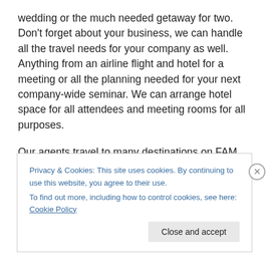wedding or the much needed getaway for two.  Don't forget about your business, we can handle all the travel needs for your company as well.  Anything from an airline flight and hotel for a meeting or all the planning needed for your next company-wide seminar.  We can arrange hotel space for all attendees and meeting rooms for all purposes.

Our agents travel to many destinations on FAM trips (Familiarization trips) these trips are designed by tour operators and cruise lines to make certain that travel
Privacy & Cookies: This site uses cookies. By continuing to use this website, you agree to their use.
To find out more, including how to control cookies, see here: Cookie Policy
Close and accept